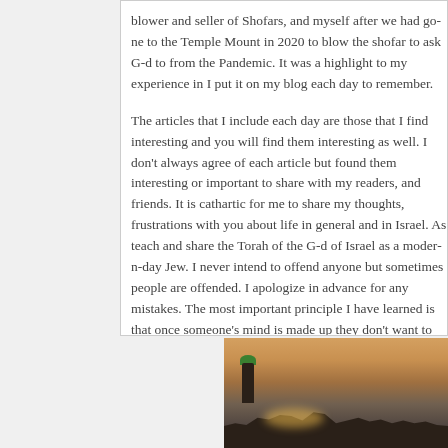blower and seller of Shofars, and myself after we had gone to the Temple Mount in 2020 to blow the shofar to ask G-d to heal us from the Pandemic. It was a highlight to my experience in Israel. I put it on my blog each day to remember.
The articles that I include each day are those that I find interesting and you will find them interesting as well. I don't always agree with the views of each article but found them interesting or important to share with my readers, and friends. It is cathartic for me to share my thoughts, joys, and frustrations with you about life in general and in Israel. As a Rabbi, I love to teach and share the Torah of the G-d of Israel as a modern-day Jew. I never intend to offend anyone but sometimes people are offended. I apologize in advance for any mistakes. The most important principle I have learned is that once someone's mind is made up they don't want to be bothered with the facts, so, like Rabbi Akiva, I drip water (Torah compared to water) on their made-up minds and hope that what I share and have share sinks in. Love Rabbi Yehuda Lave.
[Figure (photo): Outdoor photo showing a scene with a minaret and dome (likely Temple Mount area in Jerusalem) with trees and warm evening lighting]